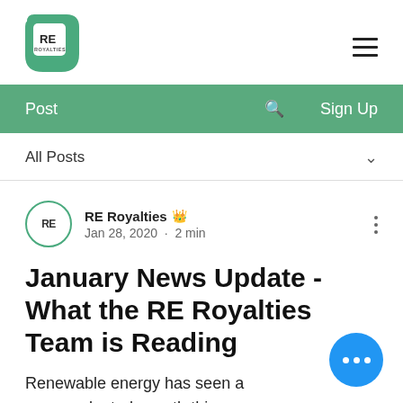[Figure (logo): RE Royalties logo — teal leaf shape with 'RE ROYALTIES' text inside a white rounded square]
[Figure (other): Hamburger menu icon (three horizontal lines)]
Post  🔍  Sign Up
All Posts ∨
RE Royalties 👑  Jan 28, 2020 · 2 min
January News Update - What the RE Royalties Team is Reading
Renewable energy has seen an unprecedented growth this past decade, with investments crossing